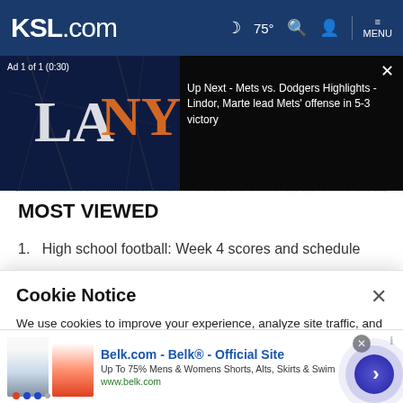KSL.com  🌙 75°  🔍  👤  MENU
[Figure (screenshot): Video ad banner showing Dodgers vs Mets logos on dark background with text: Up Next - Mets vs. Dodgers Highlights - Lindor, Marte lead Mets' offense in 5-3 victory. Ad label: Ad 1 of 1 (0:30). Close button X.]
MOST VIEWED
1.  High school football: Week 4 scores and schedule
Cookie Notice

We use cookies to improve your experience, analyze site traffic, and to personalize content and ads. By continuing to use our site, you consent to our use of cookies. Please visit our Terms of Use and  Privacy Policy for more information
[Figure (screenshot): Bottom banner ad for Belk.com showing two women's skirts/shorts images, text: Belk.com - Belk® - Official Site, Up To 75% Mens & Womens Shorts, Alts, Skirts & Swim, www.belk.com. Arrow button on right.]